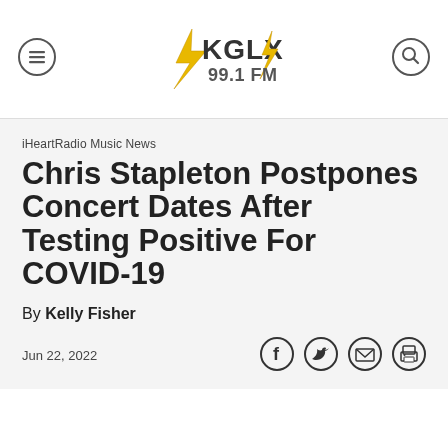[Figure (logo): KGLX 99.1 FM radio station logo with lightning bolt graphic and yellow/gold text]
iHeartRadio Music News
Chris Stapleton Postpones Concert Dates After Testing Positive For COVID-19
By Kelly Fisher
Jun 22, 2022